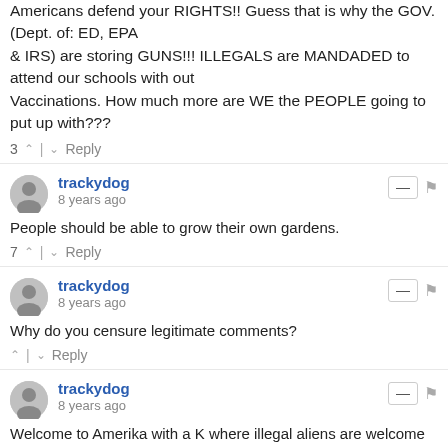Americans defend your RIGHTS!! Guess that is why the GOV. (Dept. of: ED, EPA & IRS) are storing GUNS!!! ILLEGALS are MANDADED to attend our schools with out Vaccinations. How much more are WE the PEOPLE going to put up with???
3 ↑ | ↓ Reply
trackydog
8 years ago
People should be able to grow their own gardens.
7 ↑ | ↓ Reply
trackydog
8 years ago
Why do you censure legitimate comments?
↑ | ↓ Reply
trackydog
8 years ago
Welcome to Amerika with a K where illegal aliens are welcome with open arms by the government, but you can't have a chicken in your yard.